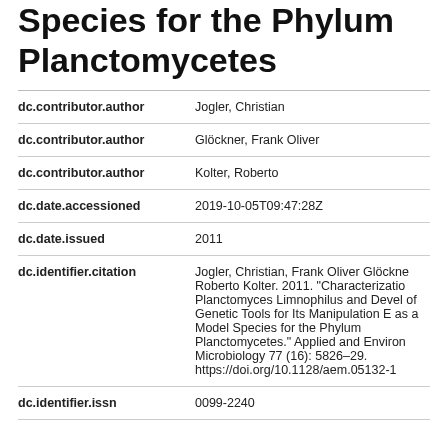Species for the Phylum Planctomycetes
| Field | Value |
| --- | --- |
| dc.contributor.author | Jogler, Christian |
| dc.contributor.author | Glöckner, Frank Oliver |
| dc.contributor.author | Kolter, Roberto |
| dc.date.accessioned | 2019-10-05T09:47:28Z |
| dc.date.issued | 2011 |
| dc.identifier.citation | Jogler, Christian, Frank Oliver Glöckne Roberto Kolter. 2011. "Characterizatio Planctomyces Limnophilus and Devel of Genetic Tools for Its Manipulation E as a Model Species for the Phylum Planctomycetes." Applied and Environ Microbiology 77 (16): 5826–29. https://doi.org/10.1128/aem.05132-1 |
| dc.identifier.issn | 0099-2240 |